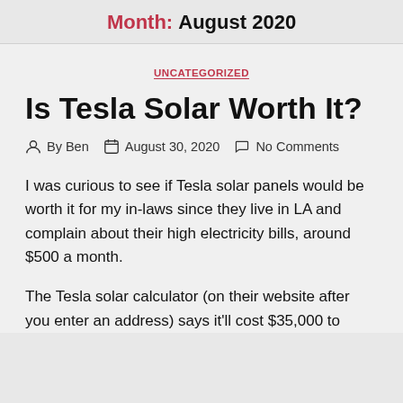Month: August 2020
UNCATEGORIZED
Is Tesla Solar Worth It?
By Ben   August 30, 2020   No Comments
I was curious to see if Tesla solar panels would be worth it for my in-laws since they live in LA and complain about their high electricity bills, around $500 a month.
The Tesla solar calculator (on their website after you enter an address) says it'll cost $35,000 to